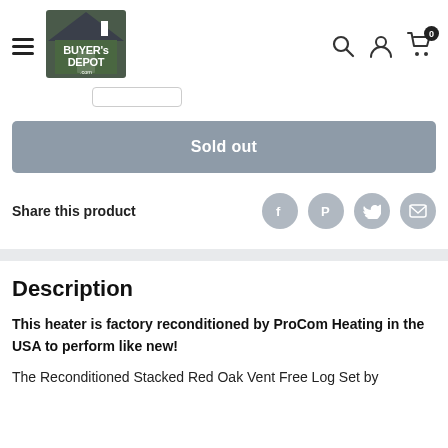Buyer's Depot .com — navigation header with logo, search, user, cart icons
[Figure (logo): Buyer's Depot .com logo with house icon in dark green and grey]
Sold out
Share this product
Description
This heater is factory reconditioned by ProCom Heating in the USA to perform like new!
The Reconditioned Stacked Red Oak Vent Free Log Set by